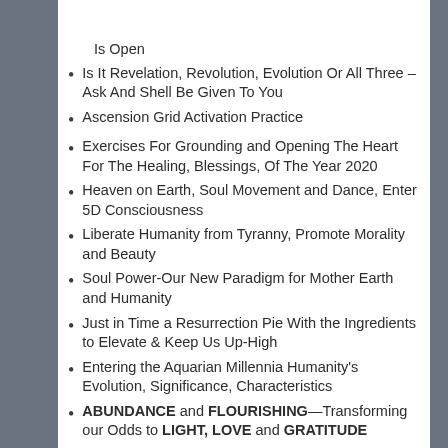BACK TO TOP
Is It Revelation, Revolution, Evolution Or All Three –Ask And Shell Be Given To You
Ascension Grid Activation Practice
Exercises For Grounding and Opening The Heart For The Healing, Blessings, Of The Year 2020
Heaven on Earth, Soul Movement and Dance, Enter 5D Consciousness
Liberate Humanity from Tyranny, Promote Morality and Beauty
Soul Power-Our New Paradigm for Mother Earth and Humanity
Just in Time a Resurrection Pie With the Ingredients to Elevate & Keep Us Up-High
Entering the Aquarian Millennia Humanity's Evolution, Significance, Characteristics
ABUNDANCE and FLOURISHING—Transforming our Odds to LIGHT, LOVE and GRATITUDE
Is the Enlightenment Journey the next Trend for